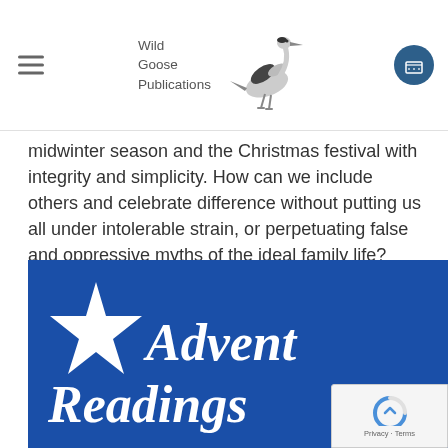Wild Goose Publications
midwinter season and the Christmas festival with integrity and simplicity. How can we include others and celebrate difference without putting us all under intolerable strain, or perpetuating false and oppressive myths of the ideal family life? Reflections on the origins, diverse meanings and customs associated with Christmas, personal stories, and liturgical and ritual resources that can be adapted and used in the home, in group gatherings and in church settings.
[Figure (illustration): Book cover with dark blue background, white star graphic on the left, and white italic text reading 'Advent Readings' in large font]